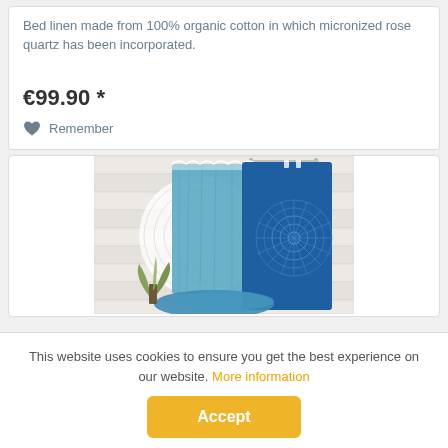Bed linen made from 100% organic cotton in which micronized rose quartz has been incorporated.
€99.90 *
Remember
[Figure (photo): Blue towels with mandala pattern hanging on a rack, with decorative elements in the background]
This website uses cookies to ensure you get the best experience on our website. More information
Accept